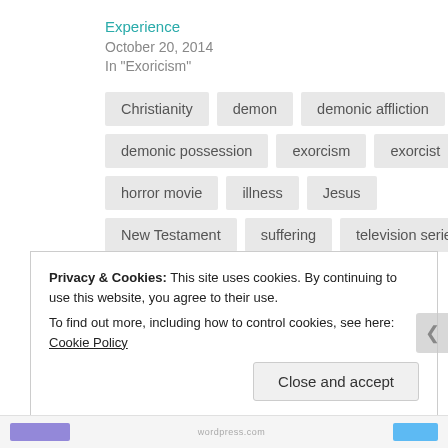Experience
October 20, 2014
In "Exoricism"
Christianity
demon
demonic affliction
demonic possession
exorcism
exorcist
horror movie
illness
Jesus
New Testament
suffering
television series
utilitarianism
Privacy & Cookies: This site uses cookies. By continuing to use this website, you agree to their use. To find out more, including how to control cookies, see here: Cookie Policy
Close and accept